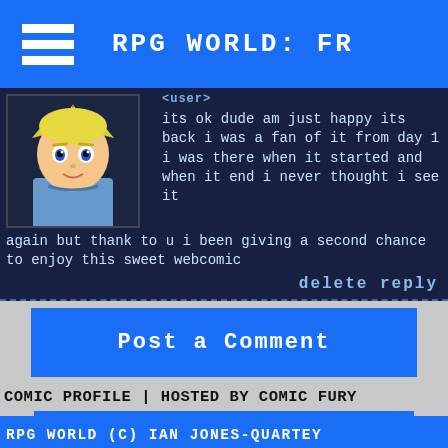RPG WORLD: FR
its ok dude am just happy its back i was a fan of it from day 1 i was there when it started and when it end i never thought i see it again but thank to u i been giving a second chance to enjoy this sweet webcomic
delete reply
Post a Comment
COMIC PROFILE | HOSTED BY COMIC FURY
RPG WORLD (C) IAN JONES-QUARTEY
BACK TO TOP ^